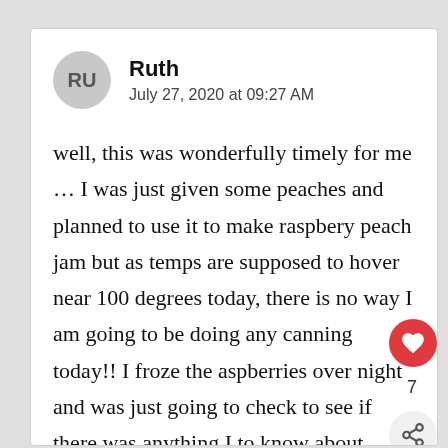RU
Ruth
July 27, 2020 at 09:27 AM
well, this was wonderfully timely for me … I was just given some peaches and planned to use it to make raspbery peach jam but as temps are supposed to hover near 100 degrees today, there is no way I am going to be doing any canning today!! I froze the aspberries over night and was just going to check to see if there was anything I to know about freezing peaches and YOU A your email showed up in my inbox